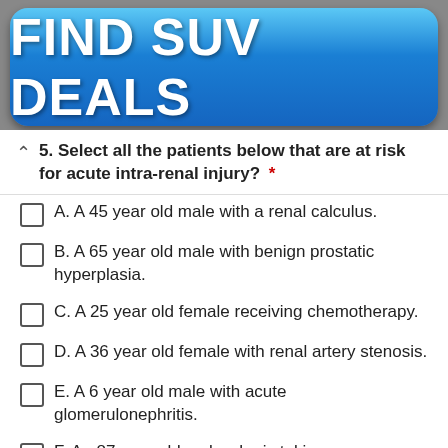[Figure (other): Blue gradient advertisement banner with bold white text reading FIND SUV DEALS]
5. Select all the patients below that are at risk for acute intra-renal injury? *
A. A 45 year old male with a renal calculus.
B. A 65 year old male with benign prostatic hyperplasia.
C. A 25 year old female receiving chemotherapy.
D. A 36 year old female with renal artery stenosis.
E. A 6 year old male with acute glomerulonephritis.
F. An 87 year old male who is taking an [continues]